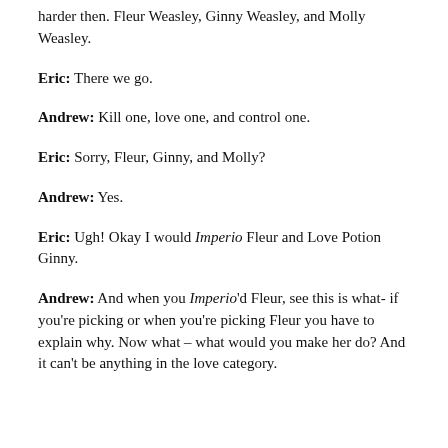harder then. Fleur Weasley, Ginny Weasley, and Molly Weasley.
Eric: There we go.
Andrew: Kill one, love one, and control one.
Eric: Sorry, Fleur, Ginny, and Molly?
Andrew: Yes.
Eric: Ugh! Okay I would Imperio Fleur and Love Potion Ginny.
Andrew: And when you Imperio'd Fleur, see this is what- if you're picking or when you're picking Fleur you have to explain why. Now what – what would you make her do? And it can't be anything in the love category.